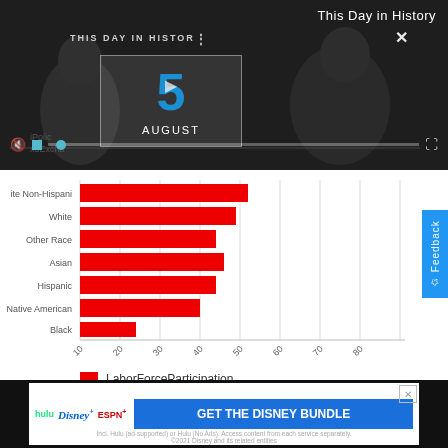[Figure (screenshot): Video player overlay showing 'This Day in History' with date August 5, video controls including mute button, progress bar, and fullscreen button. Dark background with silhouetted figures.]
This Day in History
[Figure (bar-chart): LaborForceParticipation by Race]
LaborForceParticipation
[Figure (infographic): Filter icon (funnel/triangle shape) on left, close circle button on right]
[Figure (screenshot): Advertisement banner: hulu, Disney+, ESPN+ logos with 'GET THE DISNEY BUNDLE' call to action. Fine print: Incl. Hulu (ad-supported) or Hulu (No Ads). Access content from each service separately. ©2021 Disney and its related entities]